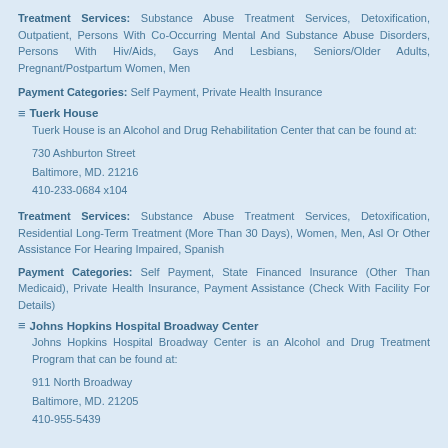Treatment Services: Substance Abuse Treatment Services, Detoxification, Outpatient, Persons With Co-Occurring Mental And Substance Abuse Disorders, Persons With Hiv/Aids, Gays And Lesbians, Seniors/Older Adults, Pregnant/Postpartum Women, Men
Payment Categories: Self Payment, Private Health Insurance
Tuerk House
Tuerk House is an Alcohol and Drug Rehabilitation Center that can be found at:
730 Ashburton Street
Baltimore, MD. 21216
410-233-0684 x104
Treatment Services: Substance Abuse Treatment Services, Detoxification, Residential Long-Term Treatment (More Than 30 Days), Women, Men, Asl Or Other Assistance For Hearing Impaired, Spanish
Payment Categories: Self Payment, State Financed Insurance (Other Than Medicaid), Private Health Insurance, Payment Assistance (Check With Facility For Details)
Johns Hopkins Hospital Broadway Center
Johns Hopkins Hospital Broadway Center is an Alcohol and Drug Treatment Program that can be found at:
911 North Broadway
Baltimore, MD. 21205
410-955-5439